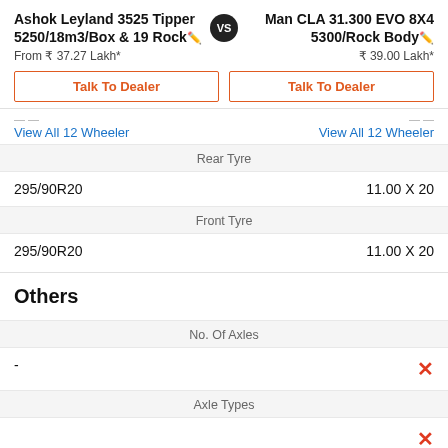Ashok Leyland 3525 Tipper 5250/18m3/Box & 19 Rock vs Man CLA 31.300 EVO 8X4 5300/Rock Body
From ₹ 37.27 Lakh*
₹ 39.00 Lakh*
Talk To Dealer
Talk To Dealer
View All 12 Wheeler
View All 12 Wheeler
| Ashok Leyland | Spec | Man CLA |
| --- | --- | --- |
| 295/90R20 | Rear Tyre | 11.00 X 20 |
| 295/90R20 | Front Tyre | 11.00 X 20 |
Others
| - | No. Of Axles | ✕ |
| --- | --- | --- |
Axle Types